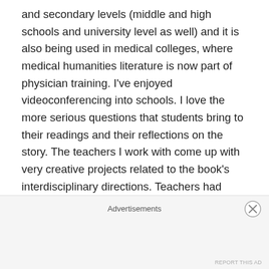and secondary levels (middle and high schools and university level as well) and it is also being used in medical colleges, where medical humanities literature is now part of physician training. I've enjoyed videoconferencing into schools. I love the more serious questions that students bring to their readings and their reflections on the story. The teachers I work with come up with very creative projects related to the book's interdisciplinary directions. Teachers had students write essays and poems about the book, make terrariums, and send them out to do some field observations of their own family members and other species. College students considered the book in terms of its story about
Advertisements